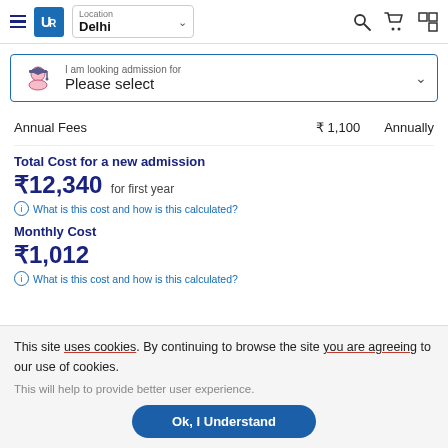UR | Location Delhi
I am looking admission for
Please select
Annual Fees ₹ 1,100 Annually
Total Cost for a new admission
₹12,340 for first year
What is this cost and how is this calculated?
Monthly Cost
₹1,012
What is this cost and how is this calculated?
This site uses cookies. By continuing to browse the site you are agreeing to our use of cookies.
This will help to provide better user experience.
Ok, I Understand